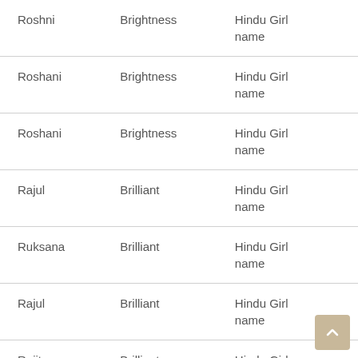| Roshni | Brightness | Hindu Girl name |
| Roshani | Brightness | Hindu Girl name |
| Roshani | Brightness | Hindu Girl name |
| Rajul | Brilliant | Hindu Girl name |
| Ruksana | Brilliant | Hindu Girl name |
| Rajul | Brilliant | Hindu Girl name |
| Rajita | Brilliant | Hindu Girl |